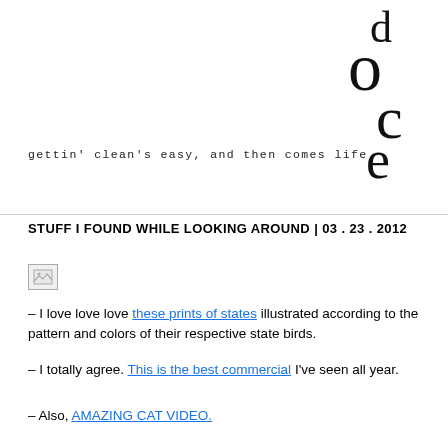[Figure (logo): Doce blog logo — large stylized letters d, o, c, e stacked in serif typeface]
gettin' clean's easy, and then comes life
STUFF I FOUND WHILE LOOKING AROUND | 03 . 23 . 2012
[Figure (photo): Broken/missing image placeholder]
– I love love love these prints of states illustrated according to the pattern and colors of their respective state birds.
– I totally agree. This is the best commercial I've seen all year.
– Also, AMAZING CAT VIDEO.